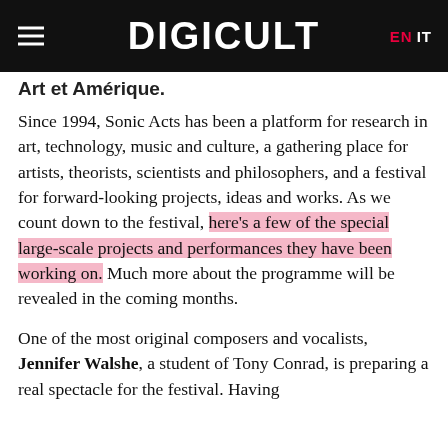DIGICULT
Art et Amérique.
Since 1994, Sonic Acts has been a platform for research in art, technology, music and culture, a gathering place for artists, theorists, scientists and philosophers, and a festival for forward-looking projects, ideas and works. As we count down to the festival, here's a few of the special large-scale projects and performances they have been working on. Much more about the programme will be revealed in the coming months.
One of the most original composers and vocalists, Jennifer Walshe, a student of Tony Conrad, is preparing a real spectacle for the festival. Having